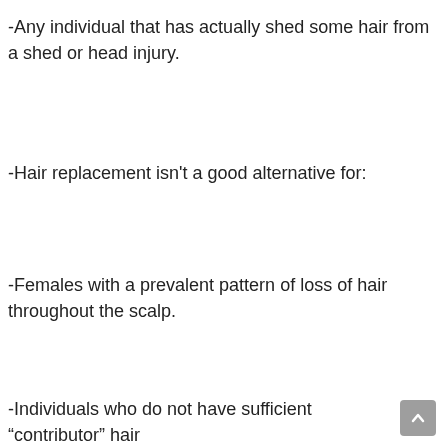-Any individual that has actually shed some hair from a shed or head injury.
-Hair replacement isn't a good alternative for:
-Females with a prevalent pattern of loss of hair throughout the scalp.
-Individuals who do not have sufficient “contributor” hair